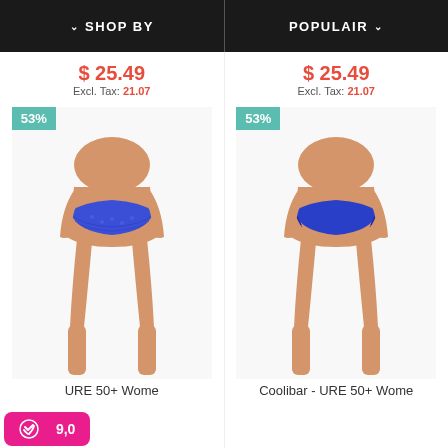SHOP BY | POPULAIR
$ 25.49
Excl. Tax: 21.07
$ 25.49
Excl. Tax: 21.07
[Figure (photo): Woman wearing blue patterned bikini bottom, 53% discount badge in teal top-left corner]
[Figure (photo): Woman wearing solid blue bikini bottom, 53% discount badge in teal top-left corner]
URE 50+ Wome
Coolibar - URE 50+ Wome